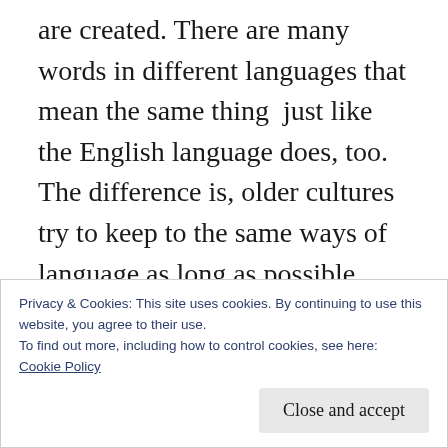are created. There are many words in different languages that mean the same thing just like the English language does, too. The difference is, older cultures try to keep to the same ways of language as long as possible. More modern, faster growing; expanding countries like the United States throw away or shift words around too much. Everyone seems to want to keep everything around them fresh, 'novel' as though they can't sit still long enough to enjoy what they already had.
Privacy & Cookies: This site uses cookies. By continuing to use this website, you agree to their use.
To find out more, including how to control cookies, see here: Cookie Policy
Close and accept